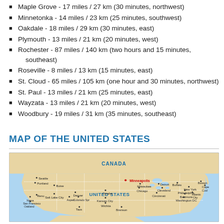Maple Grove - 17 miles / 27 km (30 minutes, northwest)
Minnetonka - 14 miles / 23 km (25 minutes, southwest)
Oakdale - 18 miles / 29 km (30 minutes, east)
Plymouth - 13 miles / 21 km (20 minutes, west)
Rochester - 87 miles / 140 km (two hours and 15 minutes, southeast)
Roseville - 8 miles / 13 km (15 minutes, east)
St. Cloud - 65 miles / 105 km (one hour and 30 minutes, northwest)
St. Paul - 13 miles / 21 km (25 minutes, east)
Wayzata - 13 miles / 21 km (20 minutes, west)
Woodbury - 19 miles / 31 km (35 minutes, southeast)
MAP OF THE UNITED STATES
[Figure (map): Map of the United States showing major cities including Minneapolis highlighted in red, with Canada to the north. Cities shown include Seattle, Portland, Boise, Salt Lake City, Napa, Reno, San Francisco, Oakland, Denver, Colorado Springs, Aspen, Kansas City, Wichita, Omaha, Minneapolis, Milwaukee, Chicago, Detroit, Cleveland, Cincinnati, Buffalo, New York, Philadelphia, Baltimore, Washington DC, Boston, Cape Cod, Atlantic City, Branson.]